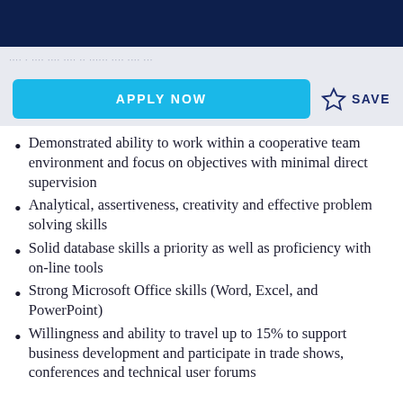APPLY NOW   ☆ SAVE
Demonstrated ability to work within a cooperative team environment and focus on objectives with minimal direct supervision
Analytical, assertiveness, creativity and effective problem solving skills
Solid database skills a priority as well as proficiency with on-line tools
Strong Microsoft Office skills (Word, Excel, and PowerPoint)
Willingness and ability to travel up to 15% to support business development and participate in trade shows, conferences and technical user forums